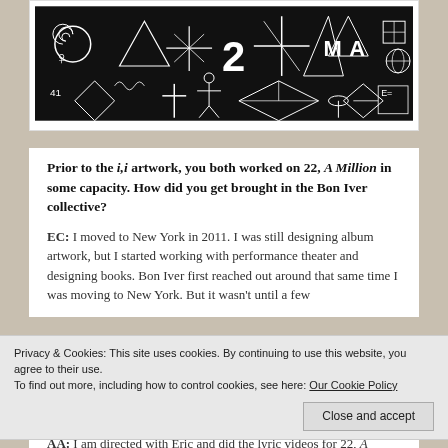[Figure (illustration): Black background artwork with white geometric symbols, mathematical and mystical shapes including spirals, triangles, stick figures, crosses, the number 2, the letter M and A, grids, and various abstract symbols arranged in a dense pattern.]
Prior to the i,i artwork, you both worked on 22, A Million in some capacity. How did you get brought in the Bon Iver collective?
EC: I moved to New York in 2011. I was still designing album artwork, but I started working with performance theater and designing books. Bon Iver first reached out around that same time I was moving to New York. But it wasn't until a few
Privacy & Cookies: This site uses cookies. By continuing to use this website, you agree to their use.
To find out more, including how to control cookies, see here: Our Cookie Policy
Close and accept
AA: I am directed with Eric and did the lyric videos for 22, A